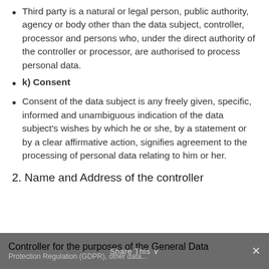Third party is a natural or legal person, public authority, agency or body other than the data subject, controller, processor and persons who, under the direct authority of the controller or processor, are authorised to process personal data.
k) Consent
Consent of the data subject is any freely given, specific, informed and unambiguous indication of the data subject's wishes by which he or she, by a statement or by a clear affirmative action, signifies agreement to the processing of personal data relating to him or her.
2. Name and Address of the controller
Controller for the purposes of the General Data Protection Regulation (GDPR), other data...